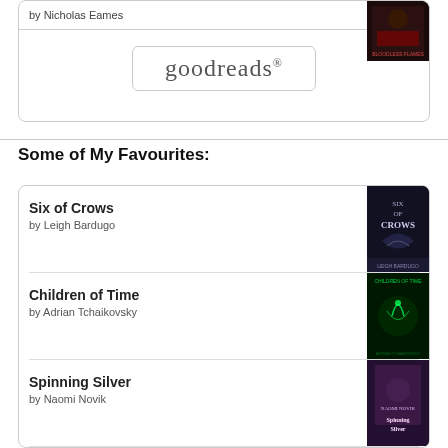by Nicholas Eames
[Figure (illustration): Book cover partially visible at top right]
[Figure (logo): Goodreads logo in rounded rectangle border]
Some of My Favourites:
Six of Crows by Leigh Bardugo
Children of Time by Adrian Tchaikovsky
Spinning Silver by Naomi Novik
Ready Player One